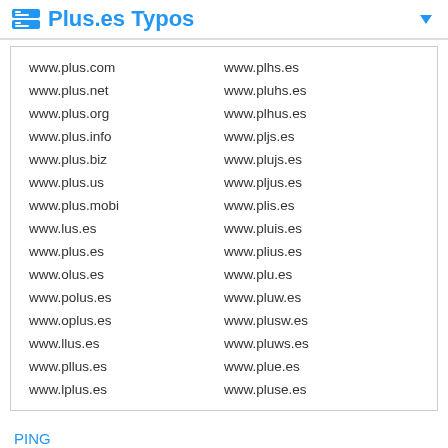Plus.es Typos
www.plus.com
www.plhs.es
www.plus.net
www.pluhs.es
www.plus.org
www.plhus.es
www.plus.info
www.pljs.es
www.plus.biz
www.plujs.es
www.plus.us
www.pljus.es
www.plus.mobi
www.plis.es
www.lus.es
www.pluis.es
www.plus.es
www.plius.es
www.olus.es
www.plu.es
www.polus.es
www.pluw.es
www.oplus.es
www.plusw.es
www.llus.es
www.pluws.es
www.pllus.es
www.plue.es
www.lplus.es
www.pluse.es
PING
Geolocation
DNS Lookup
Traceroute